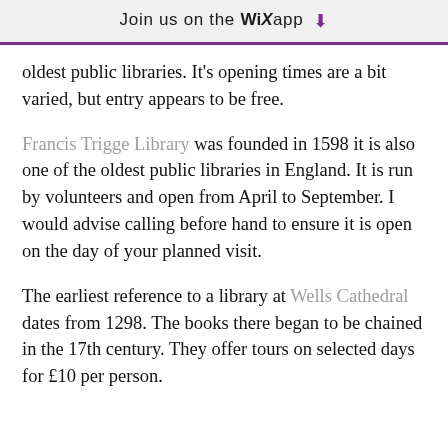Join us on the WiX app ↓
oldest public libraries. It's opening times are a bit varied, but entry appears to be free.
Francis Trigge Library was founded in 1598 it is also one of the oldest public libraries in England. It is run by volunteers and open from April to September. I would advise calling before hand to ensure it is open on the day of your planned visit.
The earliest reference to a library at Wells Cathedral dates from 1298. The books there began to be chained in the 17th century. They offer tours on selected days for £10 per person.